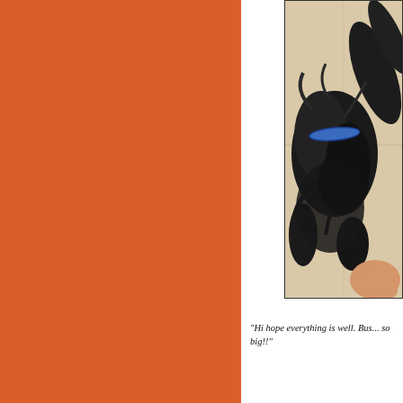[Figure (photo): Large orange/burnt-orange solid color block occupying the left portion of the page]
[Figure (photo): Partial photo of a black fluffy dog (appears to be a Schnauzer or similar breed) wearing a blue collar, photographed from above on a light-colored floor/pavement. The photo is cropped and only the right portion is visible.]
"Hi hope everything is well. Bus... so big!!"